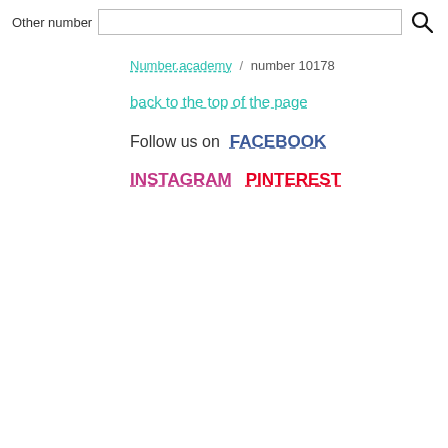Other number [search box] [search icon]
Number.academy / number 10178
back to the top of the page
Follow us on FACEBOOK
INSTAGRAM PINTEREST